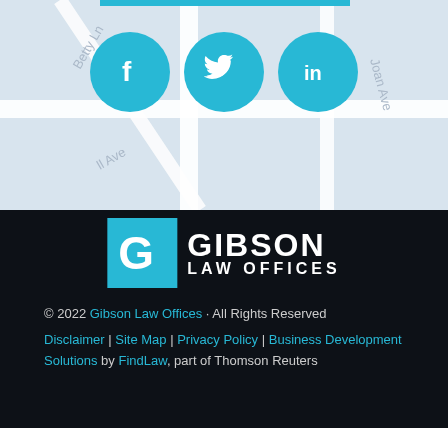[Figure (map): Street map background with road grid and labels including Betty Ln, Joan Ave]
[Figure (infographic): Three teal circular social media icons: Facebook (f), Twitter (bird), LinkedIn (in)]
[Figure (logo): Gibson Law Offices logo: teal square with white G letter, followed by GIBSON LAW OFFICES in white bold text]
© 2022 Gibson Law Offices · All Rights Reserved
Disclaimer | Site Map | Privacy Policy | Business Development Solutions by FindLaw, part of Thomson Reuters